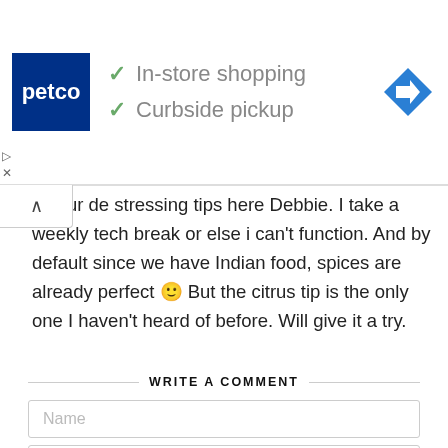[Figure (screenshot): Petco advertisement banner showing logo with 'In-store shopping' and 'Curbside pickup' with checkmarks, and a blue navigation icon on the right]
e your de stressing tips here Debbie. I take a weekly tech break or else i can't function. And by default since we have Indian food, spices are already perfect 🙂 But the citrus tip is the only one I haven't heard of before. Will give it a try.
WRITE A COMMENT
Name
Email
Website